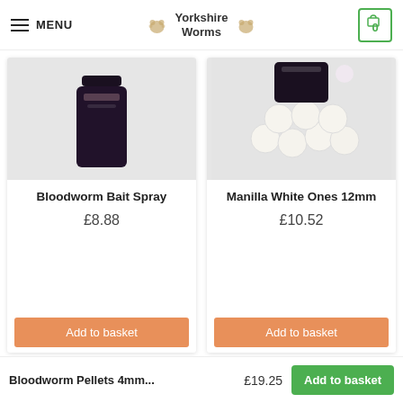MENU — Yorkshire Worms — 0
[Figure (photo): Bloodworm Bait Spray product image - dark bottle on grey background]
Bloodworm Bait Spray
£8.88
Add to basket
[Figure (photo): Manilla White Ones 12mm product image - white boilies with dark container on grey background]
Manilla White Ones 12mm
£10.52
Add to basket
[Figure (photo): Partial product image - bait item on grey background]
[Figure (photo): Partial product image - small bottle on grey background]
Bloodworm Pellets 4mm... £19.25 Add to basket